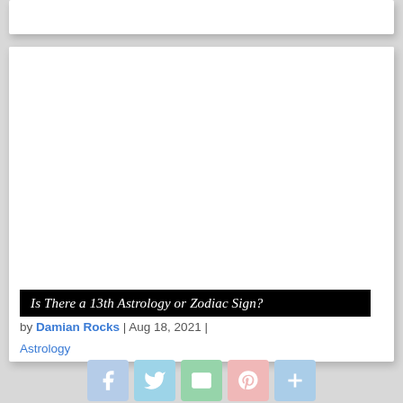[Figure (photo): White blank image area inside a card]
Is There a 13th Astrology or Zodiac Sign?
by Damian Rocks | Aug 18, 2021 | Astrology
[Figure (other): Social sharing icons: Facebook, Twitter, Email, Pinterest, More]